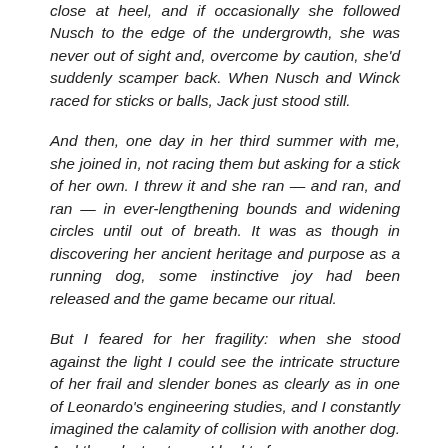close at heel, and if occasionally she followed Nusch to the edge of the undergrowth, she was never out of sight and, overcome by caution, she'd suddenly scamper back. When Nusch and Winck raced for sticks or balls, Jack just stood still.
And then, one day in her third summer with me, she joined in, not racing them but asking for a stick of her own. I threw it and she ran — and ran, and ran — in ever-lengthening bounds and widening circles until out of breath. It was as though in discovering her ancient heritage and purpose as a running dog, some instinctive joy had been released and the game became our ritual.
But I feared for her fragility: when she stood against the light I could see the intricate structure of her frail and slender bones as clearly as in one of Leonardo's engineering studies, and I constantly imagined the calamity of collision with another dog. And then, last autumn, I had to fear